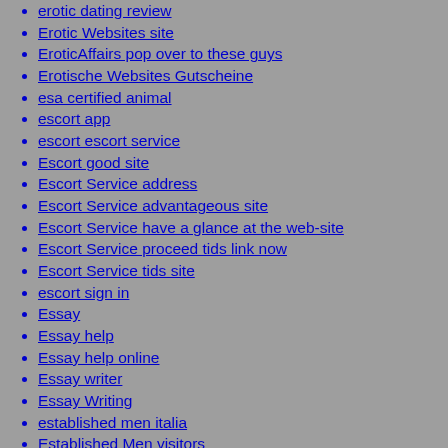erotic dating review
Erotic Websites site
EroticAffairs pop over to these guys
Erotische Websites Gutscheine
esa certified animal
escort app
escort escort service
Escort good site
Escort Service address
Escort Service advantageous site
Escort Service have a glance at the web-site
Escort Service proceed tids link now
Escort Service tids site
escort sign in
Essay
Essay help
Essay help online
Essay writer
Essay Writing
established men italia
Established Men visitors
estate
estonian-chat-rooms dating
estonian-chat-rooms review
EthiopianPersonals visitors
ethnicity dating review